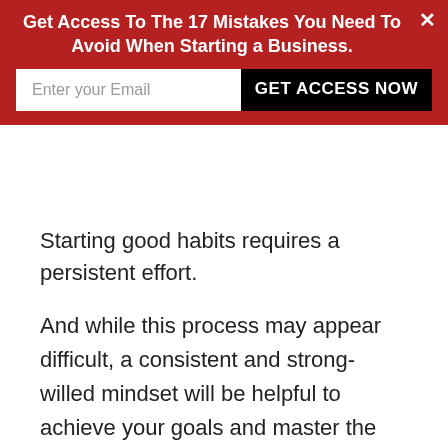Get Access To The 17 Mistakes You Need To Avoid When Starting a Business.
[Figure (screenshot): Email capture form with text input field labeled 'Enter your Email' and a black button labeled 'GET ACCESS NOW']
Starting good habits requires a persistent effort.
And while this process may appear difficult, a consistent and strong-willed mindset will be helpful to achieve your goals and master the habit.